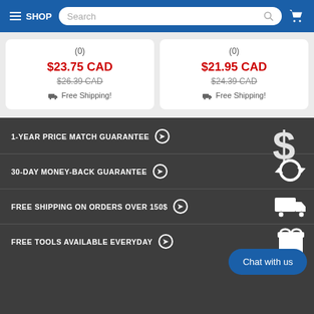SHOP
(0) $23.75 CAD $26.39 CAD Free Shipping!
(0) $21.95 CAD $24.39 CAD Free Shipping!
1-YEAR PRICE MATCH GUARANTEE
30-DAY MONEY-BACK GUARANTEE
FREE SHIPPING ON ORDERS OVER 150$
FREE TOOLS AVAILABLE EVERYDAY
Chat with us